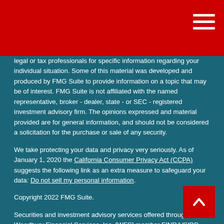legal or tax professionals for specific information regarding your individual situation. Some of this material was developed and produced by FMG Suite to provide information on a topic that may be of interest. FMG Suite is not affiliated with the named representative, broker - dealer, state - or SEC - registered investment advisory firm. The opinions expressed and material provided are for general information, and should not be considered a solicitation for the purchase or sale of any security.
We take protecting your data and privacy very seriously. As of January 1, 2020 the California Consumer Privacy Act (CCPA) suggests the following link as an extra measure to safeguard your data: Do not sell my personal information.
Copyright 2022 FMG Suite.
Securities and investment advisory services offered through Woodbury Financial Services, Inc. [WFS] member FINRA/SIPC.  WFS  is separately owned and other entities and/or marketing names, products or services referenced here are independent of WFS.  Neither WFS, nor its representatives, offer tax or legal advice.
This communication is strictly intended for individuals residing in the states of FL, IA, IL, KS, MO, VA. No offers may be made or accepted from any resident outside the specific state(s) referenced.